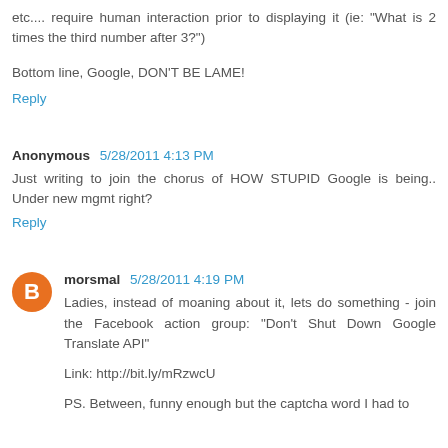etc.... require human interaction prior to displaying it (ie: "What is 2 times the third number after 3?")
Bottom line, Google, DON'T BE LAME!
Reply
Anonymous 5/28/2011 4:13 PM
Just writing to join the chorus of HOW STUPID Google is being.. Under new mgmt right?
Reply
morsmal 5/28/2011 4:19 PM
Ladies, instead of moaning about it, lets do something - join the Facebook action group: "Don't Shut Down Google Translate API"
Link: http://bit.ly/mRzwcU
PS. Between, funny enough but the captcha word I had to